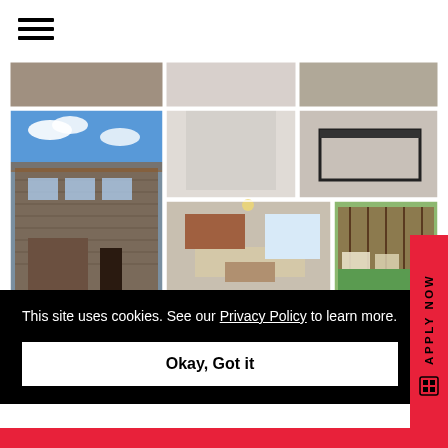[Figure (photo): Hamburger menu icon (three horizontal lines)]
[Figure (photo): Property photo collage: exterior stone house with garage, interior rooms (hallway, bedroom with metal bed frame), living room, backyard with fence and patio chairs]
This site uses cookies. See our Privacy Policy to learn more.
Okay, Got it
APPLY NOW